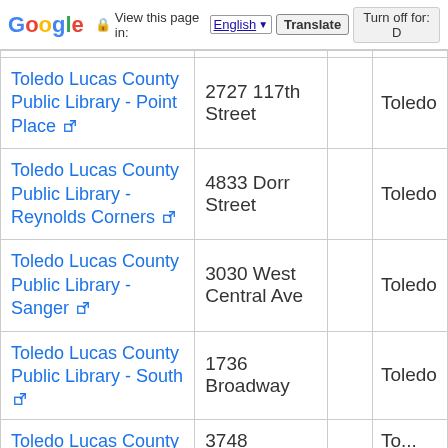Google | View this page in: English | Translate | Turn off for: D
| Name | Address |  | City |
| --- | --- | --- | --- |
| Toledo Lucas County Public Library - Point Place | 2727 117th Street |  | Toledo |
| Toledo Lucas County Public Library - Reynolds Corners | 4833 Dorr Street |  | Toledo |
| Toledo Lucas County Public Library - Sanger | 3030 West Central Ave |  | Toledo |
| Toledo Lucas County Public Library - South | 1736 Broadway |  | Toledo |
| Toledo Lucas County Public Library - ... | 3748 Monroe St... |  | To... |